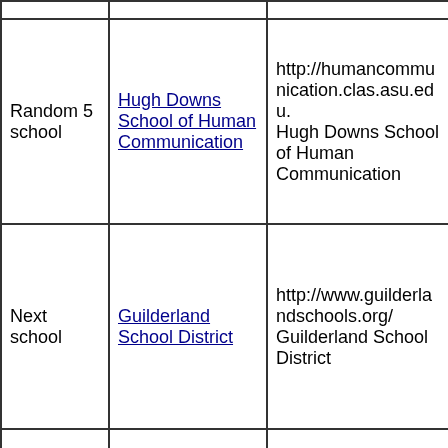|  |  |  |
| --- | --- | --- |
|  |  |  |
| Random 5 school | Hugh Downs School of Human Communication | http://humancommunication.clas.asu.edu. Hugh Downs School of Human Communication |
| Next school | Guilderland School District | http://www.guilderlandschools.org/ Guilderland School District |
|  |  |  |